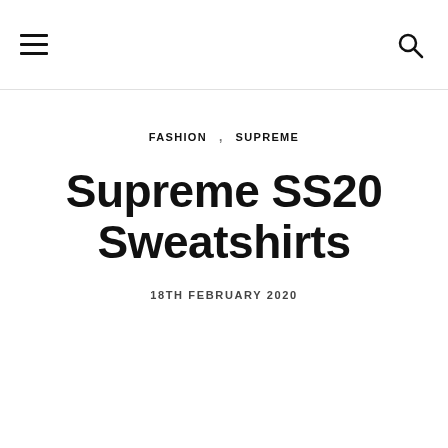[hamburger menu icon] [search icon]
FASHION,  SUPREME
Supreme SS20 Sweatshirts
18TH FEBRUARY 2020